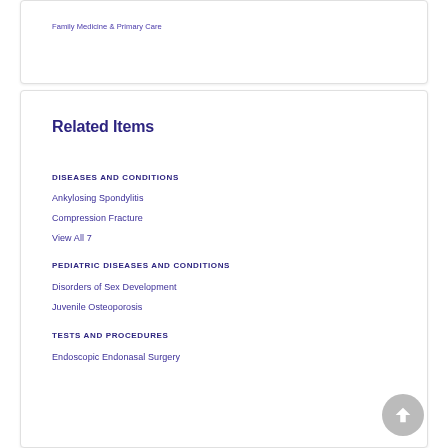Family Medicine & Primary Care
Related Items
DISEASES AND CONDITIONS
Ankylosing Spondylitis
Compression Fracture
View All 7
PEDIATRIC DISEASES AND CONDITIONS
Disorders of Sex Development
Juvenile Osteoporosis
TESTS AND PROCEDURES
Endoscopic Endonasal Surgery